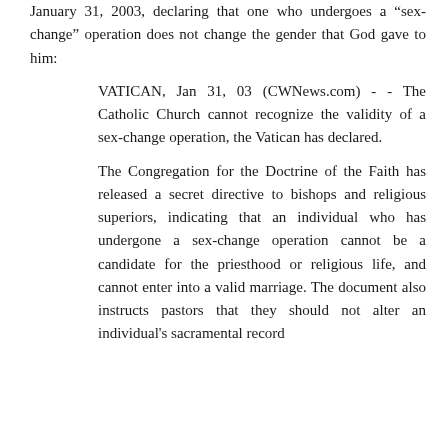January 31, 2003, declaring that one who undergoes a “sex-change” operation does not change the gender that God gave to him:
VATICAN, Jan 31, 03 (CWNews.com) - - The Catholic Church cannot recognize the validity of a sex-change operation, the Vatican has declared.
The Congregation for the Doctrine of the Faith has released a secret directive to bishops and religious superiors, indicating that an individual who has undergone a sex-change operation cannot be a candidate for the priesthood or religious life, and cannot enter into a valid marriage. The document also instructs pastors that they should not alter an individual's sacramental record